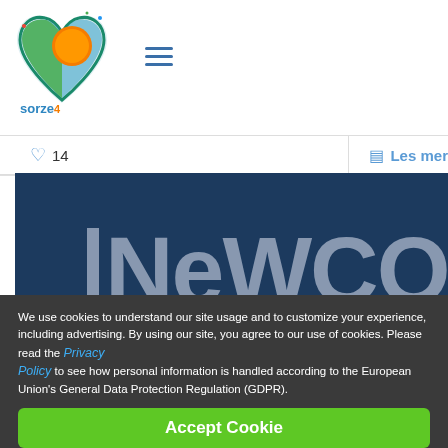[Figure (logo): Sorze4 'a taste of sun' logo with heart shape containing orange and green colors]
[Figure (other): Hamburger menu icon (three horizontal lines)]
14
Les mer
[Figure (photo): Photo of a dark blue NEWCO Functional Products truck or container with company logos/badges]
We use cookies to understand our site usage and to customize your experience, including advertising. By using our site, you agree to our use of cookies. Please read the Privacy Policy to see how personal information is handled according to the European Union's General Data Protection Regulation (GDPR).
Accept Cookie